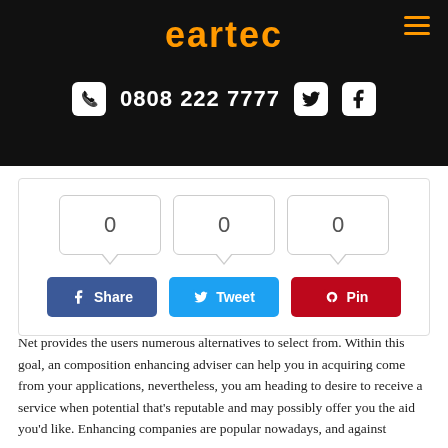eartec
0808 222 7777
[Figure (screenshot): Social share widget with three count boxes showing 0, and Share (Facebook), Tweet (Twitter), Pin (Pinterest) buttons]
Net provides the users numerous alternatives to select from. Within this goal, an composition enhancing adviser can help you in acquiring come from your applications, nevertheless, you am heading to desire to receive a service when potential that's reputable and may possibly offer you the aid you'd like. Enhancing companies are popular nowadays, and against